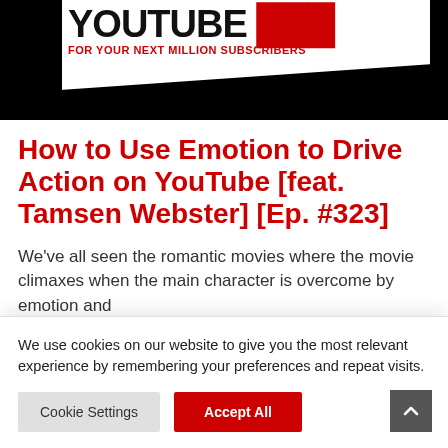[Figure (screenshot): YouTube channel banner image showing 'YOUTUBE' text in bold black on white area and 'FOR YOUR NEXT MILLION SUBSCRIBERS' in red text, on a dark/black background]
How to Use Emotion to Drive Action on YouTube [feat. Tamsen Webster] [Ep. #323]
We've all seen the romantic movies where the movie climaxes when the main character is overcome by emotion and
We use cookies on our website to give you the most relevant experience by remembering your preferences and repeat visits.
Cookie Settings | Accept All